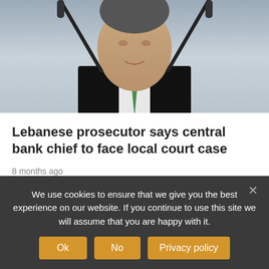[Figure (photo): Photo of a man in a dark suit with a green tie speaking at a podium with microphones]
Lebanese prosecutor says central bank chief to face local court case
8 months ago
Mount Lebanon's prosecutor Judge Ghada Aoun said Thursday in a statement that Central Bank Governor Riad Salameh is not only prosecuted abroad, but also in Lebanon. According to Aoun, there are two lawsuits against Salameh. The governor's first offense is "interfering in currency speculation along with a bank," Aoun said. The second is allowing the [...]
We use cookies to ensure that we give you the best experience on our website. If you continue to use this site we will assume that you are happy with it.